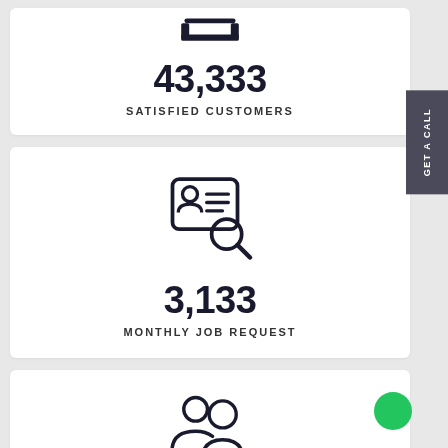[Figure (infographic): Icon of a customer/user at the top of first card (partially visible)]
43,333
SATISFIED CUSTOMERS
[Figure (infographic): Icon of a resume/ID card with magnifying glass representing job request search]
3,133
MONTHLY JOB REQUEST
[Figure (infographic): Icon of two people representing team or community (partially visible at bottom)]
GET A CALL